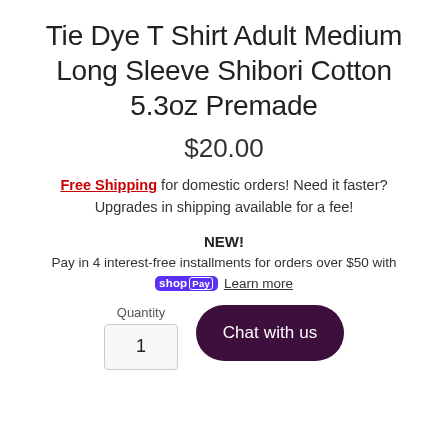Tie Dye T Shirt Adult Medium Long Sleeve Shibori Cotton 5.3oz Premade
$20.00
Free Shipping for domestic orders! Need it faster? Upgrades in shipping available for a fee!
NEW!
Pay in 4 interest-free installments for orders over $50 with shop Pay Learn more
Quantity 1
Chat with us